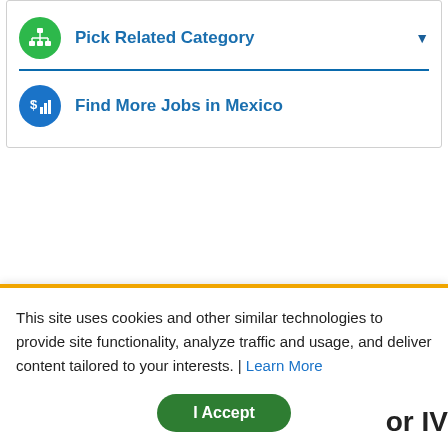Pick Related Category
Find More Jobs in Mexico
This site uses cookies and other similar technologies to provide site functionality, analyze traffic and usage, and deliver content tailored to your interests. | Learn More
I Accept
or IV